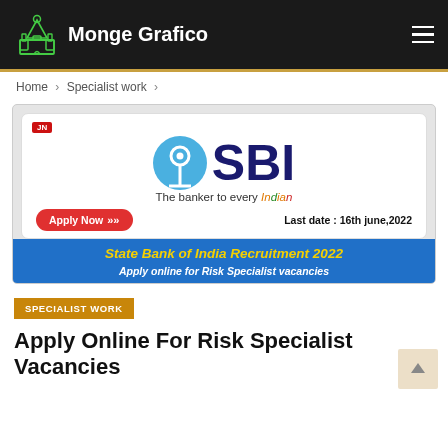Monge Grafico
Home > Specialist work >
[Figure (illustration): SBI (State Bank of India) recruitment banner. Shows SBI logo with blue circle and keyhole, large SBI text, tagline 'The banker to every Indian', Apply Now button, Last date: 16th june,2022. Blue banner below reads 'State Bank of India Recruitment 2022 - Apply online for Risk Specialist vacancies'.]
SPECIALIST WORK
Apply Online For Risk Specialist Vacancies